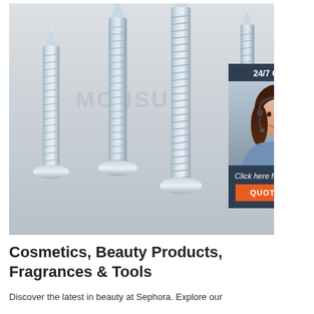[Figure (photo): Photo of four metallic screws of different heights standing upright on a light gray surface, with MONSUN watermark text in the center. Overlaid with a 24/7 online chat widget featuring a customer service representative.]
Cosmetics, Beauty Products, Fragrances & Tools
Discover the latest in beauty at Sephora. Explore our